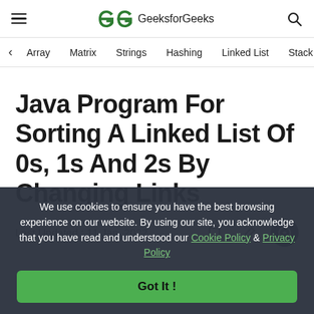GeeksforGeeks
Array  Matrix  Strings  Hashing  Linked List  Stack
Java Program For Sorting A Linked List Of 0s, 1s And 2s By Changing Links
Last Updated : 11 Jan, 2022
We use cookies to ensure you have the best browsing experience on our website. By using our site, you acknowledge that you have read and understood our Cookie Policy & Privacy Policy
Got It !